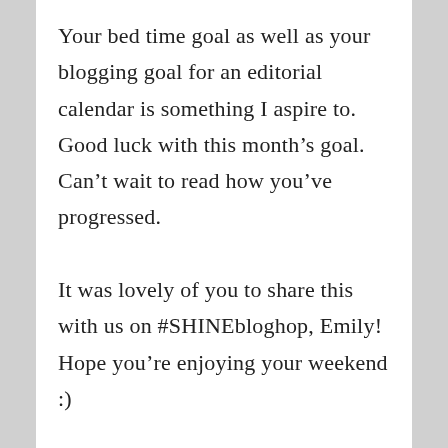Your bed time goal as well as your blogging goal for an editorial calendar is something I aspire to. Good luck with this month’s goal. Can’t wait to read how you’ve progressed.

It was lovely of you to share this with us on #SHINEbloghop, Emily! Hope you’re enjoying your weekend :)